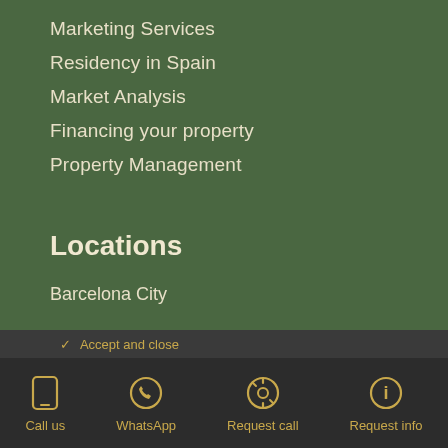Marketing Services
Residency in Spain
Market Analysis
Financing your property
Property Management
Locations
Barcelona City
Costa Brava
This website uses cookies to ensure you get the best experience on our website. View privacy policy
Call us | WhatsApp | Request call | Request info
Costa del Sol & Marbella